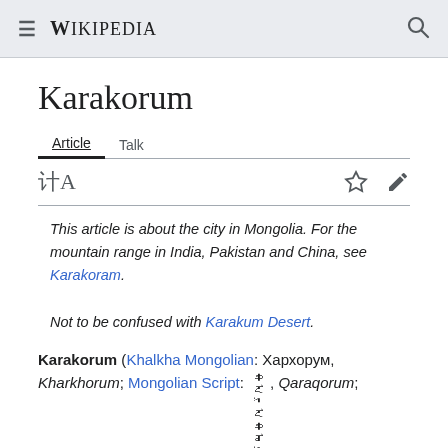≡ WIKIPEDIA 🔍
Karakorum
Article  Talk
This article is about the city in Mongolia. For the mountain range in India, Pakistan and China, see Karakoram.

Not to be confused with Karakum Desert.
Karakorum (Khalkha Mongolian: Хархорум, Kharkhorum; Mongolian Script: ᠬᠠᠷᠠᠬᠣᠷᠤᠮ, Qaraqorum; Chinese: 哈剌和林) was the capital of the Mongol Empire between 1235 and 1260 and of the Northern Yuan dynasty in the 14–15th centuries. Its